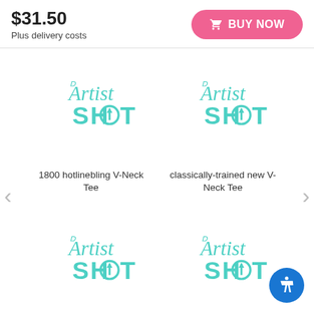$31.50
Plus delivery costs
[Figure (screenshot): Pink 'BUY NOW' button with shopping cart icon]
[Figure (logo): Artist Shot logo (teal) - product image placeholder for '1800 hotlinebling V-Neck Tee']
1800 hotlinebling V-Neck Tee
[Figure (logo): Artist Shot logo (teal) - product image placeholder for 'classically-trained new V-Neck Tee']
classically-trained new V-Neck Tee
[Figure (logo): Artist Shot logo (teal) - product image placeholder for 'this girl loves her beagle V-Neck Tee']
this girl loves her beagle V-
[Figure (logo): Artist Shot logo (teal) - product image placeholder for 'classicaly trained V-Neck']
classicaly trained V-Neck